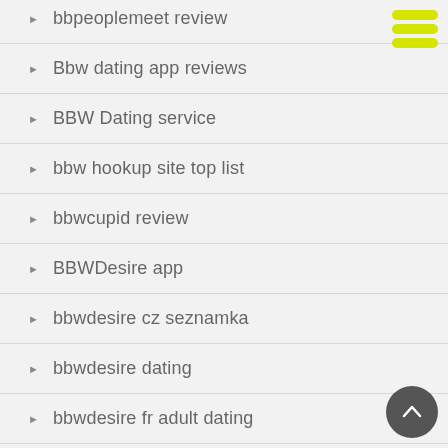bbpeoplemeet review
Bbw dating app reviews
BBW Dating service
bbw hookup site top list
bbwcupid review
BBWDesire app
bbwdesire cz seznamka
bbwdesire dating
bbwdesire fr adult dating